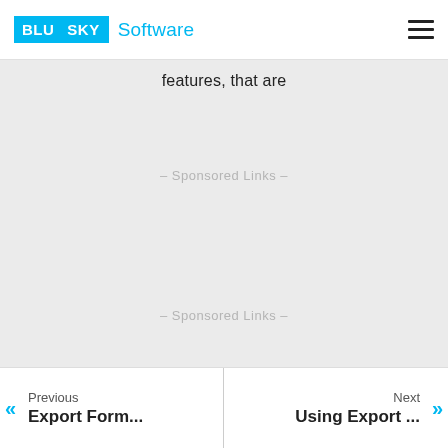[Figure (logo): BLU SKY Software logo with cyan/blue branding]
features, that are
– Sponsored Links –
– Sponsored Links –
Previous Export Form... | Next Using Export ...